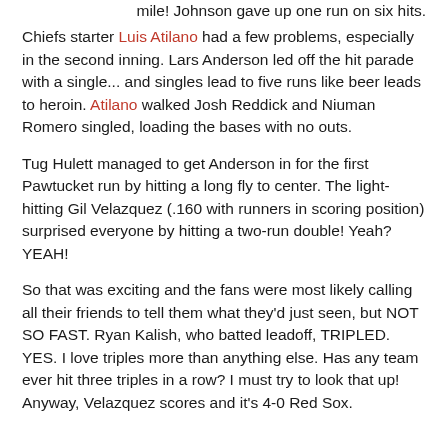mile! Johnson gave up one run on six hits.
Chiefs starter Luis Atilano had a few problems, especially in the second inning. Lars Anderson led off the hit parade with a single... and singles lead to five runs like beer leads to heroin. Atilano walked Josh Reddick and Niuman Romero singled, loading the bases with no outs.
Tug Hulett managed to get Anderson in for the first Pawtucket run by hitting a long fly to center. The light-hitting Gil Velazquez (.160 with runners in scoring position) surprised everyone by hitting a two-run double! Yeah? YEAH!
So that was exciting and the fans were most likely calling all their friends to tell them what they'd just seen, but NOT SO FAST. Ryan Kalish, who batted leadoff, TRIPLED. YES. I love triples more than anything else. Has any team ever hit three triples in a row? I must try to look that up! Anyway, Velazquez scores and it's 4-0 Red Sox.